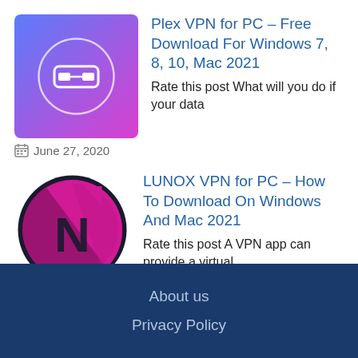[Figure (logo): Plex VPN app icon — gradient blue to magenta square with white chain-link icon and circle]
Plex VPN for PC – Free Download For Windows 7, 8, 10, Mac 2021
Rate this post What will you do if your data
June 27, 2020
[Figure (logo): LUNOX VPN app icon — circular logo with magenta/pink and dark background with letter N]
LUNOX VPN for PC – How To Download On Windows And Mac 2021
Rate this post A VPN app can provide a virtual
June 30, 2020
About us
Privacy Policy